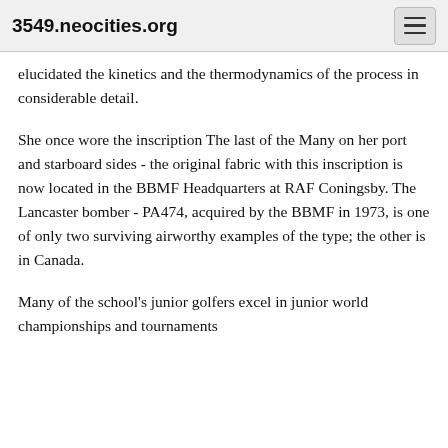3549.neocities.org
elucidated the kinetics and the thermodynamics of the process in considerable detail.
She once wore the inscription The last of the Many on her port and starboard sides - the original fabric with this inscription is now located in the BBMF Headquarters at RAF Coningsby. The Lancaster bomber - PA474, acquired by the BBMF in 1973, is one of only two surviving airworthy examples of the type; the other is in Canada.
Many of the school's junior golfers excel in junior world championships and tournaments